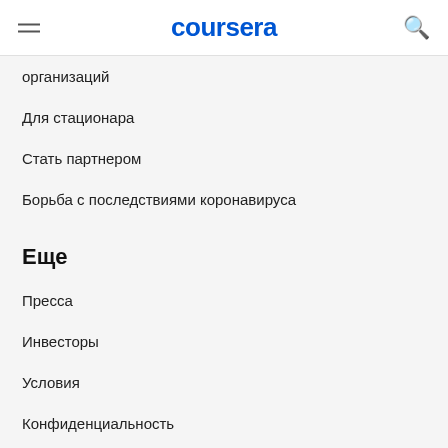coursera
организаций
Для стационара
Стать партнером
Борьба с последствиями коронавируса
Еще
Пресса
Инвесторы
Условия
Конфиденциальность
Помощь
Доступность
Контакты